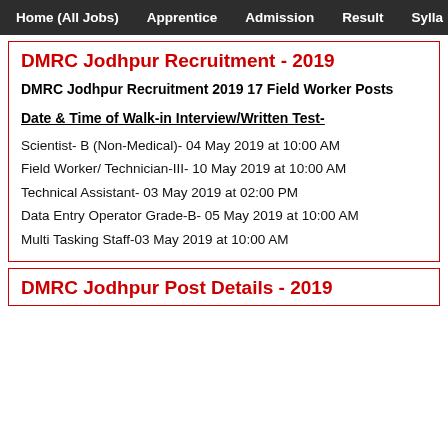Home (All Jobs)   Apprentice   Admission   Result   Sylla…
DMRC Jodhpur Recruitment - 2019
DMRC Jodhpur Recruitment 2019 17 Field Worker Posts
Date & Time of Walk-in Interview/Written Test-
Scientist- B (Non-Medical)- 04 May 2019 at 10:00 AM
Field Worker/ Technician-III- 10 May 2019 at 10:00 AM
Technical Assistant- 03 May 2019 at 02:00 PM
Data Entry Operator Grade-B- 05 May 2019 at 10:00 AM
Multi Tasking Staff-03 May 2019 at 10:00 AM
DMRC Jodhpur Post Details - 2019